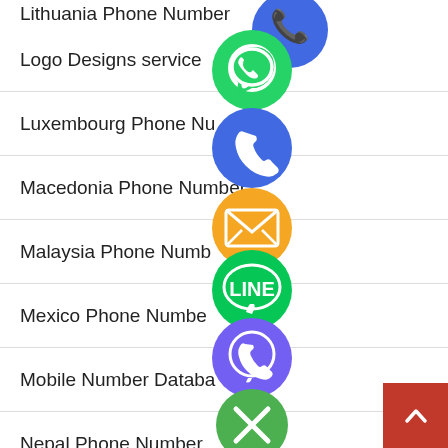Logo Designs service
Luxembourg Phone Number
Macedonia Phone Number
Malaysia Phone Number
Mexico Phone Number
Mobile Number Database
Nepal Phone Number
Netherlands Mobile Number
[Figure (illustration): Stacked social/contact app icons: WhatsApp (green), phone/Viber (blue), email (orange), LINE (green), Viber (purple), close/X (green). Overlapping the list rows on the right side.]